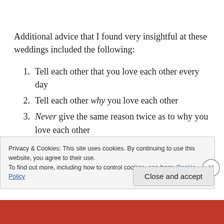Additional advice that I found very insightful at these weddings included the following:
Tell each other that you love each other every day
Tell each other why you love each other
Never give the same reason twice as to why you love each other
Never speak evil of the Lord's anointed can mean not to speak evil of each other
Privacy & Cookies: This site uses cookies. By continuing to use this website, you agree to their use. To find out more, including how to control cookies, see here: Cookie Policy